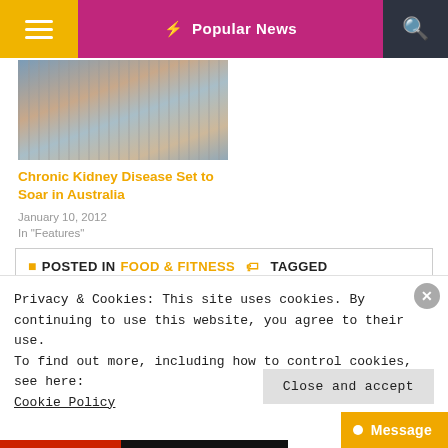☰  ⚡ Popular News  🔍
[Figure (photo): Person holding a measuring tape across their face, medical/health context]
Chronic Kidney Disease Set to Soar in Australia
January 10, 2012
In "Features"
▪ POSTED IN FOOD & FITNESS 🏷 TAGGED
Privacy & Cookies: This site uses cookies. By continuing to use this website, you agree to their use.
To find out more, including how to control cookies, see here: Cookie Policy
Close and accept
● Message